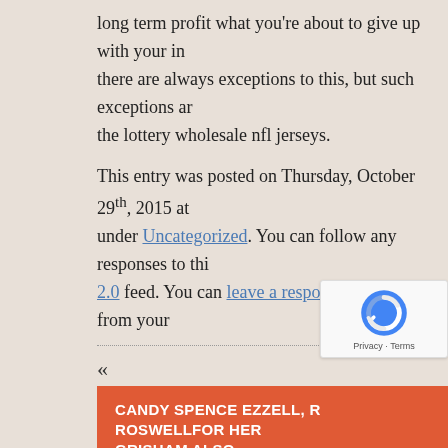long term profit what you're about to give up with your in there are always exceptions to this, but such exceptions ar the lottery wholesale nfl jerseys.
This entry was posted on Thursday, October 29th, 2015 at under Uncategorized. You can follow any responses to thi 2.0 feed. You can leave a response, or trackback from your
«
CANDY SPENCE EZZELL, R ROSWELLFOR HER GRISHAM ALSO
THE MAIN ADVANTAGE IS THAT ITS REALLY SM IT
»
Leave A Reply